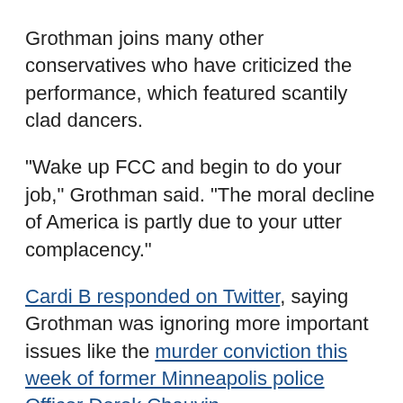Grothman joins many other conservatives who have criticized the performance, which featured scantily clad dancers.
"Wake up FCC and begin to do your job," Grothman said. "The moral decline of America is partly due to your utter complacency."
Cardi B responded on Twitter, saying Grothman was ignoring more important issues like the murder conviction this week of former Minneapolis police Officer Derek Chauvin.
"This gets me so mad ya don’t even know!" Cardi B tweeted. "I think we all been on the edge this week since we seen police brutality back to back including watching one of the biggest case in history go down